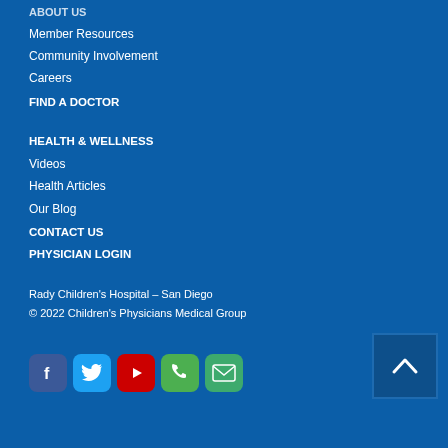ABOUT US
Member Resources
Community Involvement
Careers
FIND A DOCTOR
HEALTH & WELLNESS
Videos
Health Articles
Our Blog
CONTACT US
PHYSICIAN LOGIN
Rady Children's Hospital – San Diego
© 2022 Children's Physicians Medical Group
[Figure (infographic): Social media icons row: Facebook, Twitter, YouTube, Phone, Email, and an accessibility button]